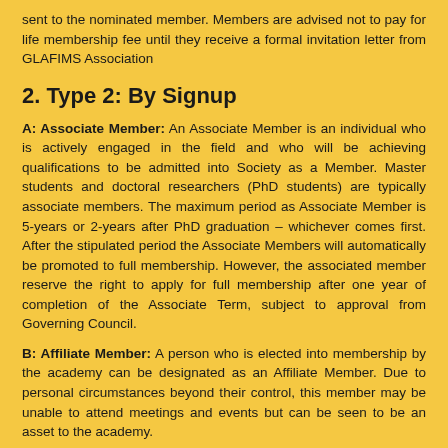sent to the nominated member. Members are advised not to pay for life membership fee until they receive a formal invitation letter from GLAFIMS Association
2. Type 2: By Signup
A: Associate Member: An Associate Member is an individual who is actively engaged in the field and who will be achieving qualifications to be admitted into Society as a Member. Master students and doctoral researchers (PhD students) are typically associate members. The maximum period as Associate Member is 5-years or 2-years after PhD graduation – whichever comes first. After the stipulated period the Associate Members will automatically be promoted to full membership. However, the associated member reserve the right to apply for full membership after one year of completion of the Associate Term, subject to approval from Governing Council.
B: Affiliate Member: A person who is elected into membership by the academy can be designated as an Affiliate Member. Due to personal circumstances beyond their control, this member may be unable to attend meetings and events but can be seen to be an asset to the academy.